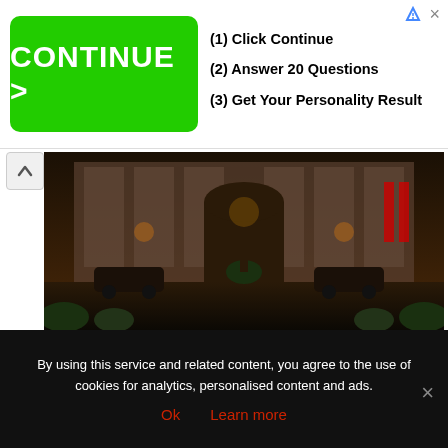[Figure (infographic): Advertisement banner with green 'CONTINUE >' button and steps: (1) Click Continue, (2) Answer 20 Questions, (3) Get Your Personality Result]
[Figure (photo): Photo of The Fullerton Hotel Singapore exterior with classic cars and staff at entrance]
The Fullerton Hotel Singapore
Village Hotel Katong by Far East Hospitality
(Address: 25 Marine Parade Rd, Singapore 449536 / Phone: +65 6344 2200), a 4-star hotel with room rates from $88/night. (Check rates and reviews on Agoda.com or Booking.com).
By using this service and related content, you agree to the use of cookies for analytics, personalised content and ads.
Ok   Learn more